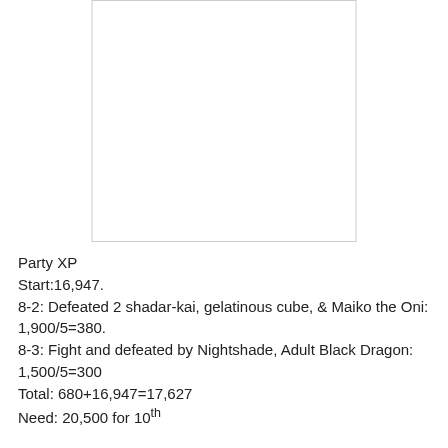[Figure (other): Blank white rectangle with light gray border, representing an image placeholder]
Party XP
Start:16,947.
8-2: Defeated 2 shadar-kai, gelatinous cube, & Maiko the Oni: 1,900/5=380.
8-3: Fight and defeated by Nightshade, Adult Black Dragon: 1,500/5=300
Total: 680+16,947=17,627
Need: 20,500 for 10th